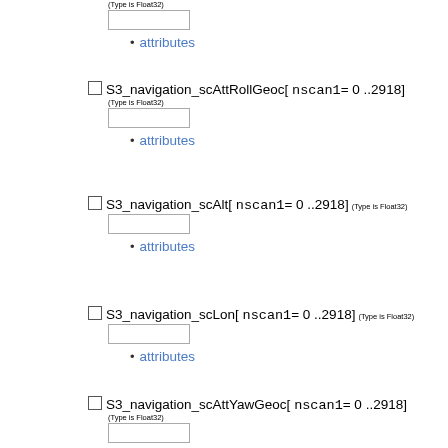(Type is Float32)
[input box]
attributes
S3_navigation_scAttRollGeoc[ nscan1= 0 ..2918]
(Type is Float32)
[input box]
attributes
S3_navigation_scAlt[ nscan1= 0 ..2918] (Type is Float32)
[input box]
attributes
S3_navigation_scLon[ nscan1= 0 ..2918] (Type is Float32)
[input box]
attributes
S3_navigation_scAttYawGeoc[ nscan1= 0 ..2918]
(Type is Float32)
[input box]
attributes